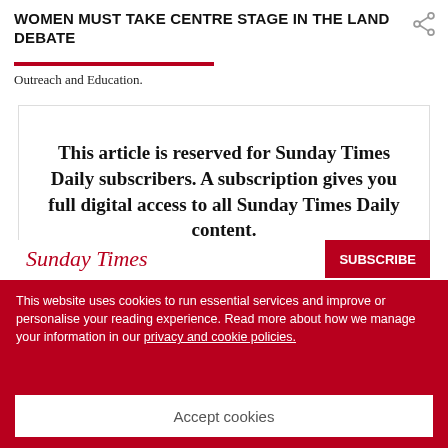WOMEN MUST TAKE CENTRE STAGE IN THE LAND DEBATE
Outreach and Education.
This article is reserved for Sunday Times Daily subscribers. A subscription gives you full digital access to all Sunday Times Daily content.
This website uses cookies to run essential services and improve or personalise your reading experience. Read more about how we manage your information in our privacy and cookie policies.
Accept cookies